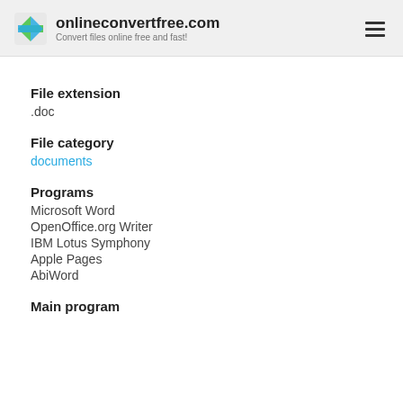onlineconvertfree.com — Convert files online free and fast!
File extension
.doc
File category
documents
Programs
Microsoft Word
OpenOffice.org Writer
IBM Lotus Symphony
Apple Pages
AbiWord
Main program